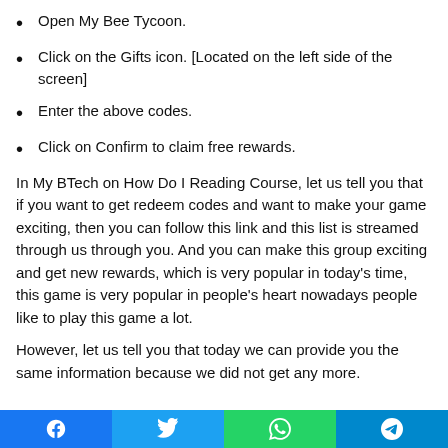Open My Bee Tycoon.
Click on the Gifts icon. [Located on the left side of the screen]
Enter the above codes.
Click on Confirm to claim free rewards.
In My BTech on How Do I Reading Course, let us tell you that if you want to get redeem codes and want to make your game exciting, then you can follow this link and this list is streamed through us through you. And you can make this group exciting and get new rewards, which is very popular in today’s time, this game is very popular in people’s heart nowadays people like to play this game a lot.
However, let us tell you that today we can provide you the same information because we did not get any more.